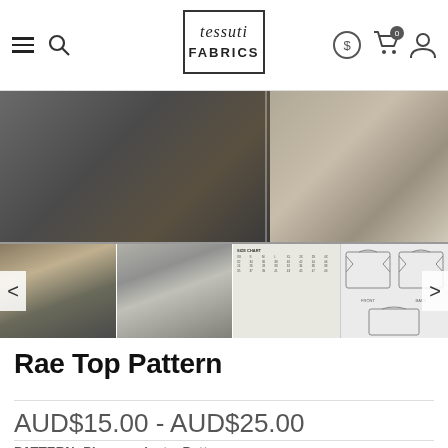tessuti FABRICS — navigation header with logo, search, cart, and user icons
[Figure (photo): E-commerce product image carousel showing a woman in a khaki top, a man in a gray sleeveless top, a pattern size chart, and garment schematics for the Rae Top Pattern. Navigation arrows on left and right.]
Rae Top Pattern
AUD$15.00 - AUD$25.00
PATTERN: Please select a Pattern